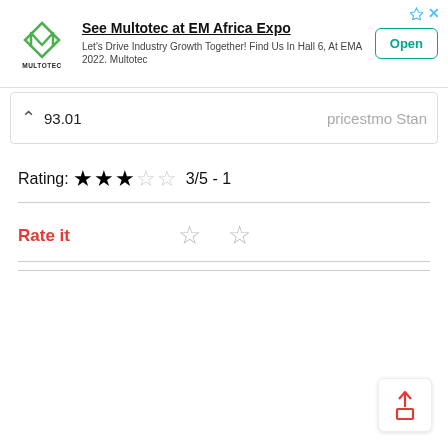[Figure (other): Multotec advertisement banner with logo, headline 'See Multotec at EM Africa Expo', subtext 'Let's Drive Industry Growth Together! Find Us In Hall 6, At EMA 2022. Multotec', and an 'Open' button]
93.01   pricestno Stan
Rating: ★★★☆☆ 3/5 - 1
Rate it ☆ ☆